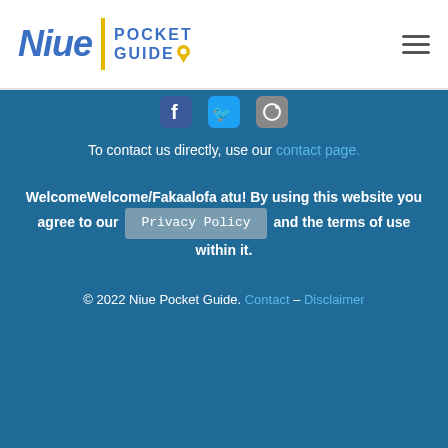Niue Pocket Guide
[Figure (logo): Niue Pocket Guide logo with blue italic text 'Niue', yellow vertical divider, and blue bold text 'POCKET GUIDE' with a map pin icon]
To contact us directly, use our contact page.
WelcomeWelcome/Fakaalofa atu! By using this website you agree to our Privacy Policy and the terms of use within it.
© 2022 Niue Pocket Guide. Contact – Disclaimer